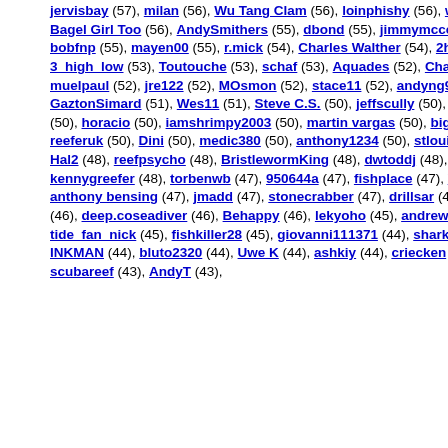jervisbay (57), milan (56), Wu Tang Clam (56), loinphishy (56), wcottner (56), upinya (56), Bagel Girl Too (56), AndySmithers (55), dbond (55), jimmymccord (55), Reef Salty (55), bobfnp (55), mayen00 (55), r.mick (54), Charles Walther (54), 2high (54), fsoares (54), 3_high_low (53), Toutouche (53), schaf (53), Aquades (52), Chasbo (52), petrocasa (52), muelpaul (52), jre122 (52), MOsmon (52), stace11 (52), andyng9200 (52), tunahunter (51), GaztonSimard (51), Wes11 (51), Steve C.S. (50), jeffscully (50), Jessica Marcin (50), jcstarn (50), horacio (50), iamshrimpy2003 (50), martin vargas (50), bigreddog (50), stubbs1 (50), reeferuk (50), Dini (50), medic380 (50), anthony1234 (50), stlouisguy (49), fishkabobs (49), Hal2 (48), reefpsycho (48), BristlewormKing (48), dwtoddj (48), Racin&Reefin (48), kennygreefer (48), torbenwb (47), 950644a (47), fishplace (47), VERVE (47), jnowell (47), anthony bensing (47), jmadd (47), stonecrabber (47), drillsar (46), nattee (46), DrBCool (46), deep.coseadiver (46), Behappy (46), lekyoho (45), andrewkc (45), labratest (45), tide_fan_nick (45), fishkiller28 (45), giovanni111371 (44), sharky71 (44), aurelio (44), INKMAN (44), bluto2320 (44), Uwe K (44), ashkiy (44), criecken (44), RICKS 55 (43), scubareef (43), AndyT (43), ...